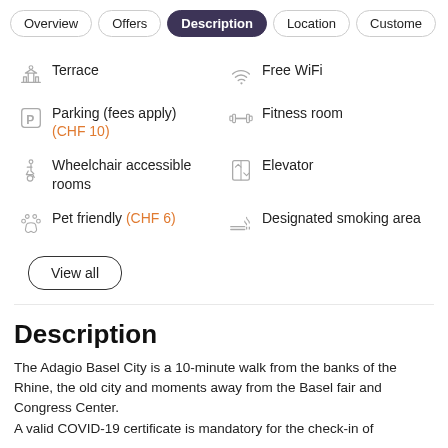Overview | Offers | Description | Location | Customer
Terrace
Free WiFi
Parking (fees apply) (CHF 10)
Fitness room
Wheelchair accessible rooms
Elevator
Pet friendly (CHF 6)
Designated smoking area
View all
Description
The Adagio Basel City is a 10-minute walk from the banks of the Rhine, the old city and moments away from the Basel fair and Congress Center.
A valid COVID-19 certificate is mandatory for the check-in of